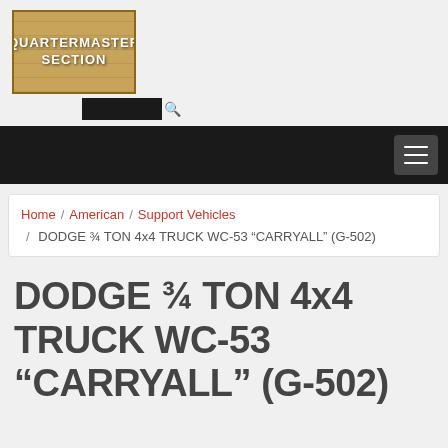[Figure (logo): Quartermaster Section logo — wooden crate plank texture background with white bold text reading QUARTERMASTER SECTION]
QUARTERMASTER SECTION — navigation bar with hamburger menu
Home / American / Support Vehicles / DODGE ¾ TON 4x4 TRUCK WC-53 “CARRYALL” (G-502)
DODGE ¾ TON 4x4 TRUCK WC-53 “CARRYALL” (G-502)